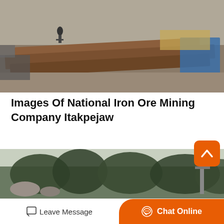[Figure (photo): Outdoor industrial scene showing large flat metal/steel plates on the ground at a mining or construction site, with a person visible in the background.]
Images Of National Iron Ore Mining Company Itakpejaw
National iron ore mining company operates mines in nigeria. nigeria iron mining companp ltd nigeria iron ore mining company iron ore mining in nigeria overview endi the state owned national…
Get Price  >
[Figure (photo): Outdoor landscape scene showing rocky terrain and dense trees/forest, likely a mining area.]
Leave Message   Chat Online